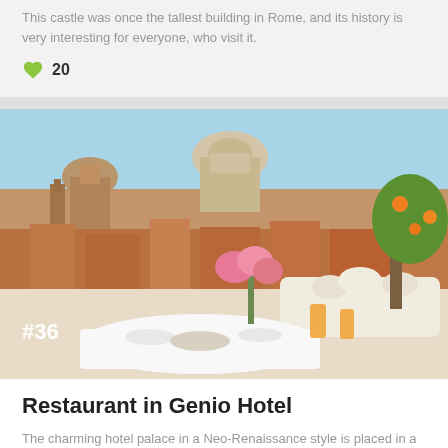This castle was once the tallest building in Rome, and its history is very interesting for everyone, who visit it.
20
[Figure (photo): Rooftop restaurant terrace with white tablecloth table set for breakfast with orange juice and croissant, pink flowers in vase, ornate white bench, overlooking Rome skyline with church domes and terracotta rooftops, orange citrus tree on right. Number #36 overlaid in white text bottom left.]
Restaurant in Genio Hotel
The charming hotel palace in a Neo-Renaissance style is placed in a stone's throw from Piazza Navona, the Pantheon and